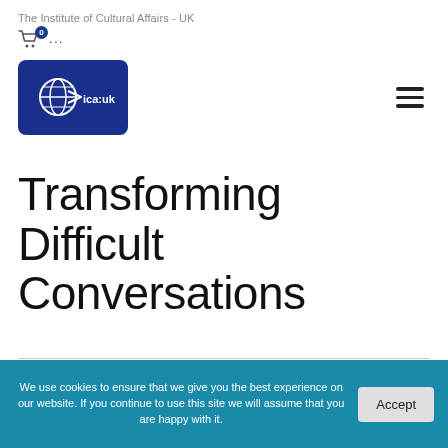The Institute of Cultural Affairs - UK
[Figure (logo): ICA:UK logo — dark blue rounded rectangle with a stylized globe and arrow icon and text 'ica:uk']
Transforming Difficult Conversations
Creating Positive Outcomes in Challenging Situations
We use cookies to ensure that we give you the best experience on our website. If you continue to use this site we will assume that you are happy with it.